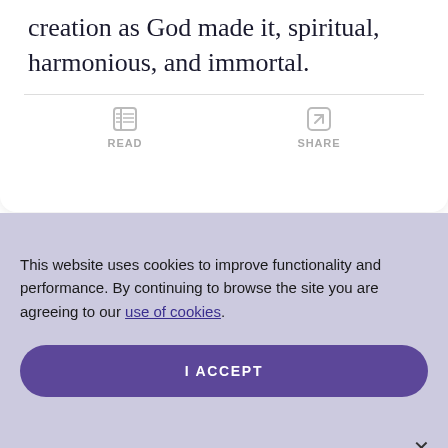creation as God made it, spiritual, harmonious, and immortal.
[Figure (screenshot): READ and SHARE action buttons with icons below a horizontal divider in a card]
This website uses cookies to improve functionality and performance. By continuing to browse the site you are agreeing to our use of cookies.
I ACCEPT